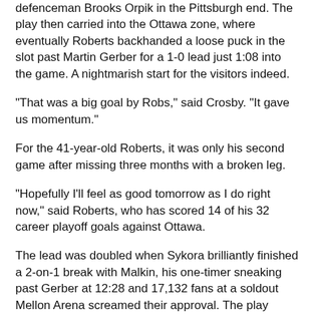defenceman Brooks Orpik in the Pittsburgh end. The play then carried into the Ottawa zone, where eventually Roberts backhanded a loose puck in the slot past Martin Gerber for a 1-0 lead just 1:08 into the game. A nightmarish start for the visitors indeed.
"That was a big goal by Robs," said Crosby. "It gave us momentum."
For the 41-year-old Roberts, it was only his second game after missing three months with a broken leg.
"Hopefully I'll feel as good tomorrow as I do right now," said Roberts, who has scored 14 of his 32 career playoff goals against Ottawa.
The lead was doubled when Sykora brilliantly finished a 2-on-1 break with Malkin, his one-timer sneaking past Gerber at 12:28 and 17,132 fans at a soldout Mellon Arena screamed their approval. The play began with a bad pinch by Senators defenceman Mike Commodore, who